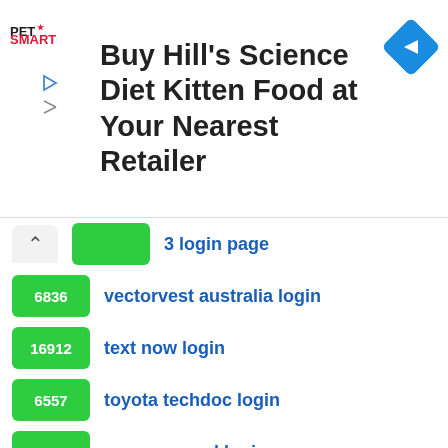[Figure (screenshot): PetSmart advertisement banner for Hill's Science Diet Kitten Food with navigation arrow button]
Buy Hill's Science Diet Kitten Food at Your Nearest Retailer
3 login page
6836  vectorvest australia login
16912  text now login
6557  toyota techdoc login
15916  my password login
3896  great west life admin login
5480  chs advanced learning login
6291  second life failed unable to connect to a simulator login